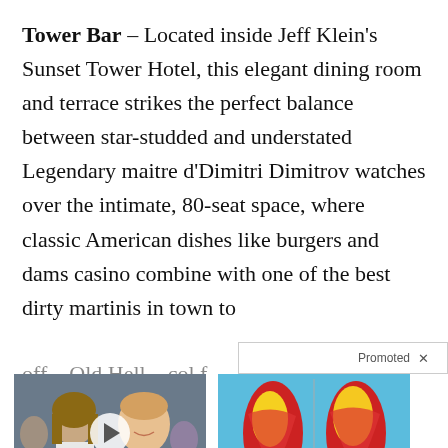Tower Bar – Located inside Jeff Klein's Sunset Tower Hotel, this elegant dining room and terrace strikes the perfect balance between star-studded and understated Legendary maitre d'Dimitri Dimitrov watches over the intimate, 80-seat space, where classic American dishes like burgers and dams casino combine with one of the best dirty martinis in town to
Promoted X
[Figure (photo): Photo of a man and woman, with a video play button overlay]
Democrats Want This Video Destroyed — Watch Now Before It's Banned
🔥 174,351
[Figure (illustration): Medical illustration showing leg muscles and fat deposits in red and yellow on blue background]
How To Lose 40.5 Lbs In A Month (Eat This Once Every Day)
🔥 41,255